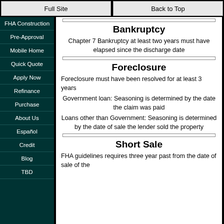Full Site | Back to Top
FHA Construction
Pre-Approval
Mobile Home
Quick Quote
Apply Now
Refinance
Purchase
About Us
Español
Credit
Blog
TBD
Bankruptcy
Chapter 7 Bankruptcy at least two years must have elapsed since the discharge date
Foreclosure
Foreclosure must have been resolved for at least 3 years
Government loan: Seasoning is determined by the date the claim was paid
Loans other than Government: Seasoning is determined by the date of sale the lender sold the property
Short Sale
FHA guidelines requires three year past from the date of sale of the